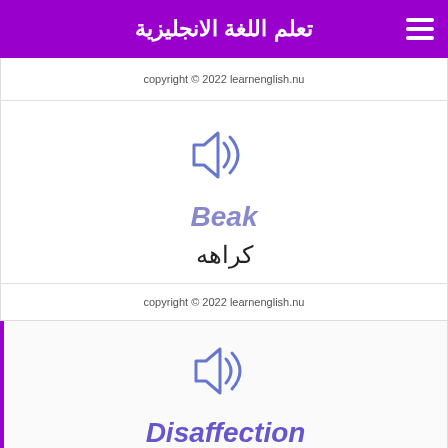تعلم اللغة الانجليزية
copyright © 2022 learnenglish.nu
[Figure (illustration): Speaker/audio icon in blue-purple outline style]
Beak
كراهه
copyright © 2022 learnenglish.nu
[Figure (illustration): Speaker/audio icon in blue-purple outline style]
Disaffection
استياء